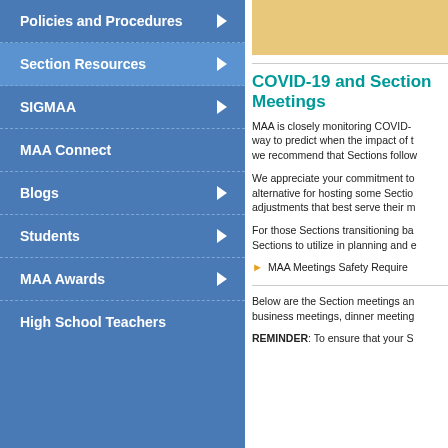Policies and Procedures
Section Resources
SIGMAA
MAA Connect
Blogs
Students
MAA Awards
High School Teachers
[Figure (photo): Partial image with orange/tan background visible at top right]
COVID-19 and Section Meetings
MAA is closely monitoring COVID- way to predict when the impact of t we recommend that Sections follow
We appreciate your commitment to alternative for hosting some Sectio adjustments that best serve their m
For those Sections transitioning ba Sections to utilize in planning and e
MAA Meetings Safety Require
Below are the Section meetings an business meetings, dinner meeting
REMINDER: To ensure that your S